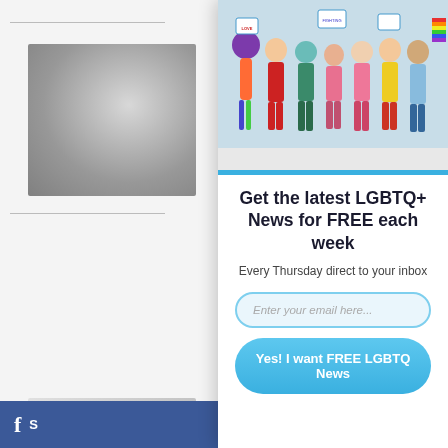[Figure (photo): Left column showing partial view of a website with thumbnail images (spiral/texture, medical/person lying down, crowd scene) and a Facebook bar at the bottom]
[Figure (photo): Hero image of diverse group of LGBTQ+ people in colorful outfits holding pride signs and flags]
Get the latest LGBTQ+ News for FREE each week
Every Thursday direct to your inbox
Enter your email here...
Yes! I want FREE LGBTQ News